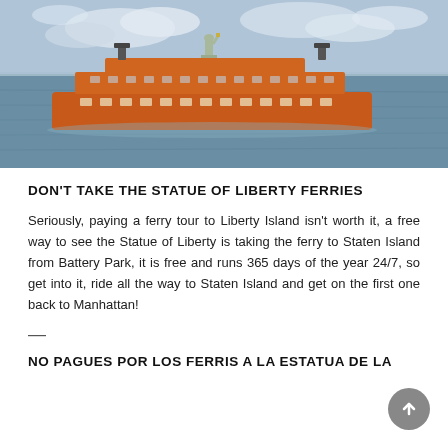[Figure (photo): A large orange Staten Island Ferry on the water with the Statue of Liberty visible in the background under a partly cloudy sky.]
DON'T TAKE THE STATUE OF LIBERTY FERRIES
Seriously, paying a ferry tour to Liberty Island isn't worth it, a free way to see the Statue of Liberty is taking the ferry to Staten Island from Battery Park, it is free and runs 365 days of the year 24/7, so get into it, ride all the way to Staten Island and get on the first one back to Manhattan!
NO PAGUES POR LOS FERRIS A LA ESTATUA DE LA